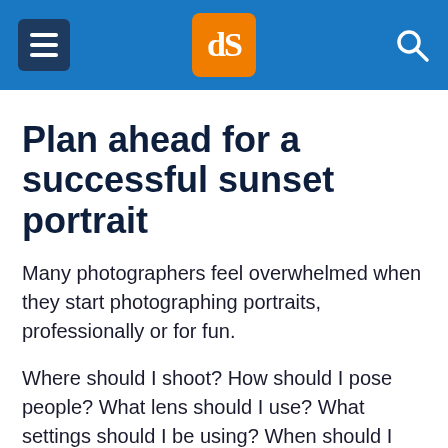dPS (digital Photography School) navigation header
Plan ahead for a successful sunset portrait
Many photographers feel overwhelmed when they start photographing portraits, professionally or for fun.
Where should I shoot? How should I pose people? What lens should I use? What settings should I be using? When should I move them to/from a